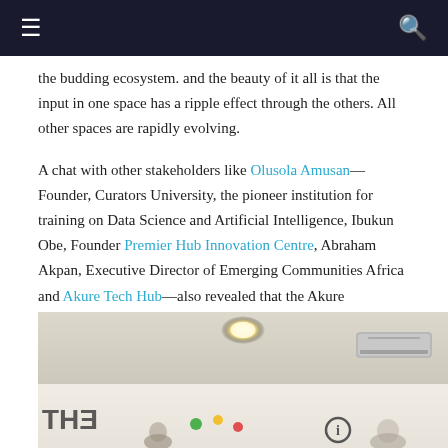Navigation bar with menu and search icons
the budding ecosystem. and the beauty of it all is that the input in one space has a ripple effect through the others. All other spaces are rapidly evolving.
A chat with other stakeholders like Olusola Amusan—Founder, Curators University, the pioneer institution for training on Data Science and Artificial Intelligence, Ibukun Obe, Founder Premier Hub Innovation Centre, Abraham Akpan, Executive Director of Emerging Communities Africa and Akure Tech Hub—also revealed that the Akure ecosystem would definitely continue thriving and a lot is going into sustaining this rapid evolution.
[Figure (photo): Interior photo of a tech hub space showing ceiling lights, air conditioning unit, reversed text on left wall reading 'THE', colorful dots on the wall, and people partially visible at the bottom]